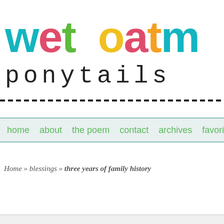wet oatm ponytails
home | about | the poem | contact | archives | favorite p
Home » blessings » three years of family history